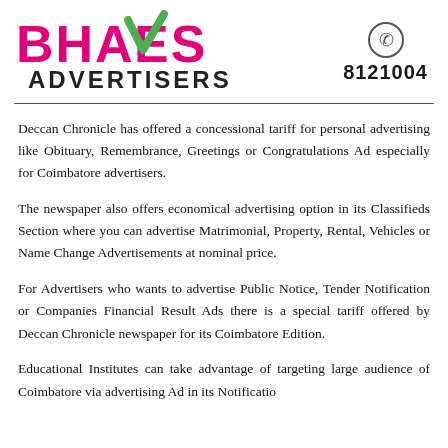[Figure (logo): Bhaves Advertisers logo with pink bold text 'BHAVES' and dark 'ADVERTISERS', green checkmark replacing the V]
8121004
Deccan Chronicle has offered a concessional tariff for personal advertising like Obituary, Remembrance, Greetings or Congratulations Ad especially for Coimbatore advertisers.
The newspaper also offers economical advertising option in its Classifieds Section where you can advertise Matrimonial, Property, Rental, Vehicles or Name Change Advertisements at nominal price.
For Advertisers who wants to advertise Public Notice, Tender Notification or Companies Financial Result Ads there is a special tariff offered by Deccan Chronicle newspaper for its Coimbatore Edition.
Educational Institutes can take advantage of targeting large audience of Coimbatore via advertising Ad in its Notification...